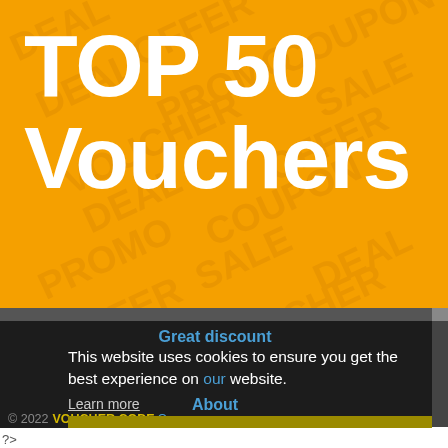TOP 50 Vouchers
Great discount
This website uses cookies to ensure you get the best experience on our website.
Learn more
About
Got it!
© 2022 VOUCHER CODE Ocean
?>